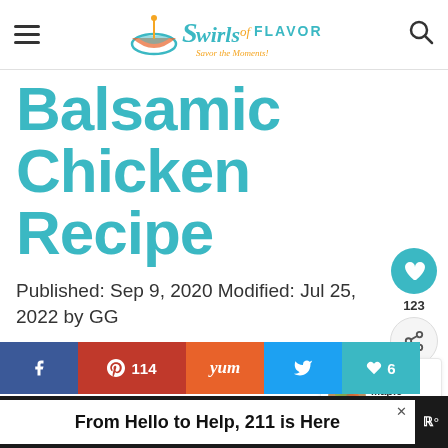Swirls of Flavor — Savor the Moments!
Balsamic Chicken Recipe
Published: Sep 9, 2020 Modified: Jul 25, 2022 by GG
123 (heart/save count)
WHAT'S NEXT → Maple Balsamic... 114 SHARES
f  p 114  Yum  Twitter  Heart 6
From Hello to Help, 211 is Here